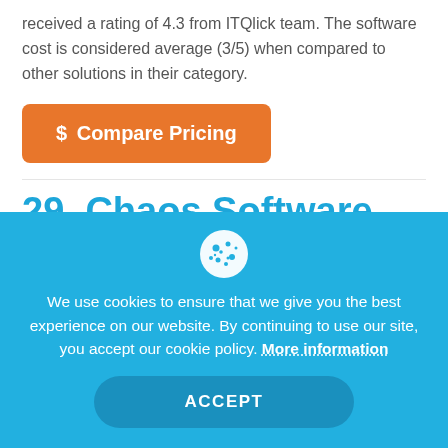received a rating of 4.3 from ITQlick team. The software cost is considered average (3/5) when compared to other solutions in their category.
$ Compare Pricing
29. Chaos Software Free
Best for: Start-up, Small business, Medium business, Large
We use cookies to ensure that we give you the best experience on our website. By continuing to use our site, you accept our cookie policy. More information
ACCEPT